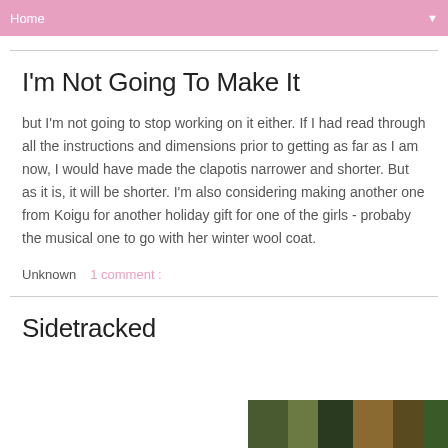Home
I'm Not Going To Make It
but I'm not going to stop working on it either. If I had read through all the instructions and dimensions prior to getting as far as I am now, I would have made the clapotis narrower and shorter. But as it is, it will be shorter. I'm also considering making another one from Koigu for another holiday gift for one of the girls - probaby the musical one to go with her winter wool coat.
Unknown   1 comment :
Sidetracked
[Figure (photo): Partial photo strip visible at bottom right corner of page]